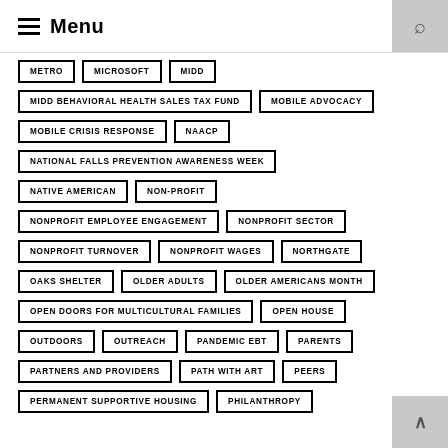Menu
METRO
MICROSOFT
MIDD
MIDD BEHAVIORAL HEALTH SALES TAX FUND
MOBILE ADVOCACY
MOBILE CRISIS RESPONSE
NAACP
NATIONAL FALLS PREVENTION AWARENESS WEEK
NATIVE AMERICAN
NON-PROFIT
NONPROFIT EMPLOYEE ENGAGEMENT
NONPROFIT SECTOR
NONPROFIT TURNOVER
NONPROFIT WAGES
NORTHGATE
OAKS SHELTER
OLDER ADULTS
OLDER AMERICANS MONTH
OPEN DOORS FOR MULTICULTURAL FAMILIES
OPEN HOUSE
OUTDOORS
OUTREACH
PANDEMIC EBT
PARENTS
PARTNERS AND PROVIDERS
PATH WITH ART
PEERS
PERMANENT SUPPORTIVE HOUSING
PHILANTHROPY